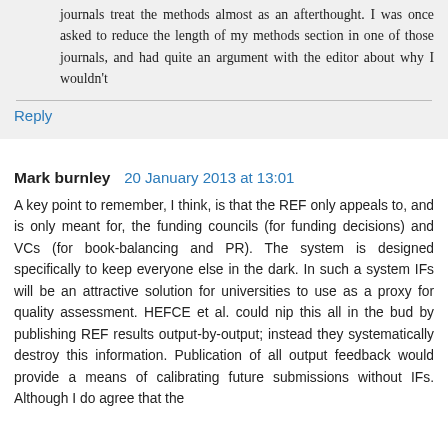journals treat the methods almost as an afterthought. I was once asked to reduce the length of my methods section in one of those journals, and had quite an argument with the editor about why I wouldn't
Reply
Mark burnley  20 January 2013 at 13:01
A key point to remember, I think, is that the REF only appeals to, and is only meant for, the funding councils (for funding decisions) and VCs (for book-balancing and PR). The system is designed specifically to keep everyone else in the dark. In such a system IFs will be an attractive solution for universities to use as a proxy for quality assessment. HEFCE et al. could nip this all in the bud by publishing REF results output-by-output; instead they systematically destroy this information. Publication of all output feedback would provide a means of calibrating future submissions without IFs. Although I do agree that the